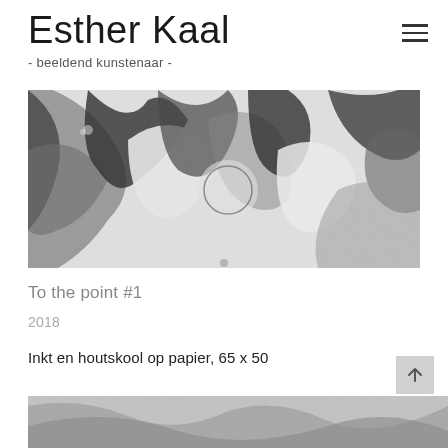Esther Kaal - beeldend kunstenaar -
[Figure (photo): Black and white close-up artwork photograph showing abstract shapes with ink and charcoal textures, angular and curved forms with grainy dark and light contrast.]
To the point #1
2018
Inkt en houtskool op papier, 65 x 50
[Figure (photo): Partial view of another black and white artwork at the bottom of the page, showing textured grainy charcoal-like marks.]